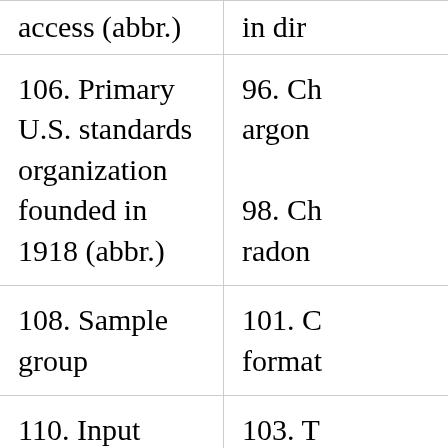access (abbr.)
in dir...
106. Primary U.S. standards organization founded in 1918 (abbr.)
96. Ch... argon 98. Ch... radon
108. Sample group
101. C... format...
110. Input winding of a transformer (pl.)
103. T... interwi...
111. Chemical symbol for copper